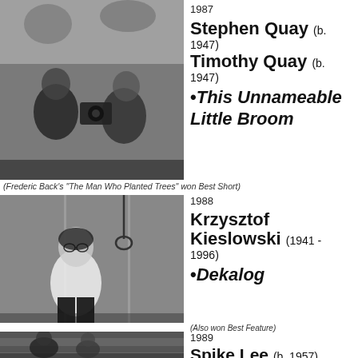[Figure (photo): Black and white photo of two men (Stephen and Timothy Quay) with a film camera]
1987
Stephen Quay (b. 1947)
Timothy Quay (b. 1947)
•This Unnameable Little Broom
(Frederic Back's "The Man Who Planted Trees" won Best Short)
[Figure (photo): Black and white photo of Krzysztof Kieslowski standing near a noose]
1988
Krzysztof Kieslowski (1941 - 1996)
•Dekalog
(Also won Best Feature)
[Figure (photo): Black and white photo of Spike Lee]
1989
Spike Lee (b. 1957)